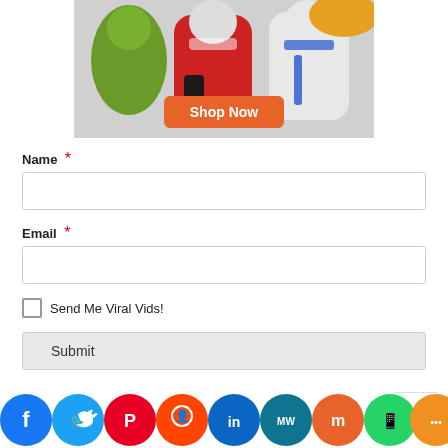[Figure (photo): Advertisement banner showing Star Wars clone trooper action figures in red, white, and blue armor with a 'Shop Now' orange button overlay]
Name *
Email *
Send Me Viral Vids!
Submit
[Figure (infographic): Social media share bar with icons: Facebook, Twitter, Pinterest, Reddit, LinkedIn, MeWe, Mix, WhatsApp, More]